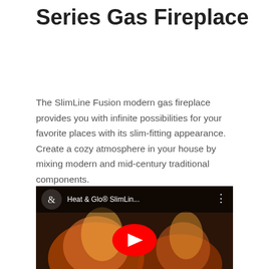Series Gas Fireplace
The SlimLine Fusion modern gas fireplace provides you with infinite possibilities for your favorite places with its slim-fitting appearance. Create a cozy atmosphere in your house by mixing modern and mid-century traditional components.
[Figure (screenshot): YouTube video thumbnail showing a fireplace with flames. The video title reads 'Heat & Glo® SlimLin...' with a YouTube play button overlay and the Heat & Glo logo in the top-left corner.]